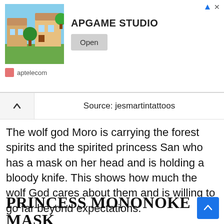[Figure (other): Mobile app advertisement banner for APGAME STUDIO showing a building/house game screenshot with an Open button and aptelecom listed below]
Source: jesmartintattoos
The wolf god Moro is carrying the forest spirits and the spirited princess San who has a mask on her head and is holding a bloody knife. This shows how much the wolf God cares about them and is willing to go far beyond expectations.
PRINCESS MONONOKE MASK TATTOOS